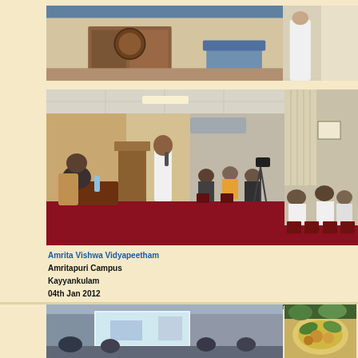[Figure (photo): Top strip showing interior room with wooden furniture and blue ceiling, and a partial photo on the right]
[Figure (photo): Large photo of a lecture event: a man in white standing with microphone, another person seated at table, audience seated in background with camera equipment. At Amritapuri Campus.]
[Figure (photo): Side photo showing audience members seated in red chairs watching the lecture event]
Amrita Vishwa Vidyapeetham
Amritapuri Campus
Kayyankulam
04th Jan 2012
K.P.Umapathy Acharya delivered a lecture about " Temple Architecture -
[Figure (photo): Bottom left photo showing a presentation screen with an image being projected in a room]
[Figure (photo): Bottom right photo showing food items or ritual objects]